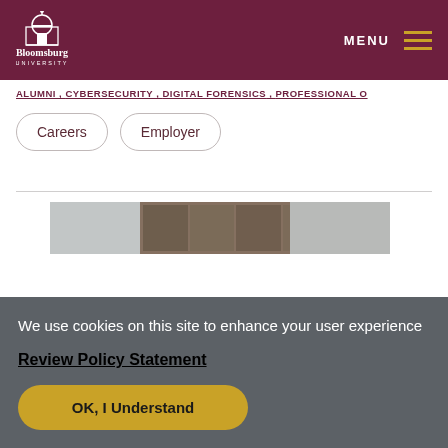[Figure (logo): Bloomsburg University logo with dome icon and text]
ALUMNI , CYBERSECURITY , DIGITAL FORENSICS , PROFESSIONAL O
Careers
Employer
[Figure (photo): Partial image of a gallery or office wall with framed pictures]
We use cookies on this site to enhance your user experience
Review Policy Statement
OK, I Understand